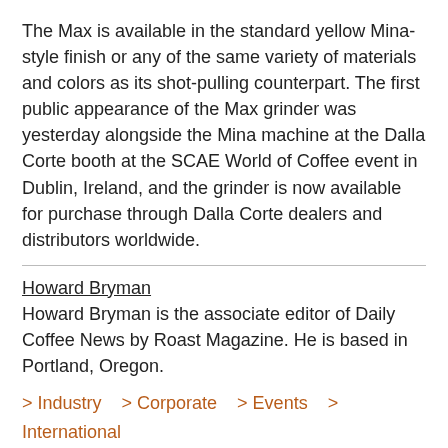The Max is available in the standard yellow Mina-style finish or any of the same variety of materials and colors as its shot-pulling counterpart. The first public appearance of the Max grinder was yesterday alongside the Mina machine at the Dalla Corte booth at the SCAE World of Coffee event in Dublin, Ireland, and the grinder is now available for purchase through Dalla Corte dealers and distributors worldwide.
Howard Bryman
Howard Bryman is the associate editor of Daily Coffee News by Roast Magazine. He is based in Portland, Oregon.
> Industry   > Corporate   > Events   > International
> Products
Tags: Dalla Corte, Dalla Corte Max, Dalla Corte Mina, grinders, grinding, home brewing, prosumer, World of Coffee, World of Coffee Dublin